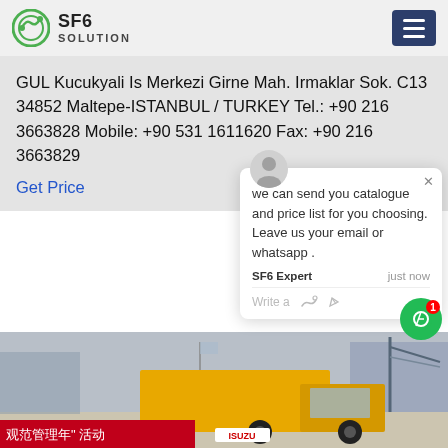SF6 SOLUTION
GUL Kucukyali Is Merkezi Girne Mah. Irmaklar Sok. C13 34852 Maltepe-ISTANBUL / TURKEY Tel.: +90 216 3663828 Mobile: +90 531 1611620 Fax: +90 216 3663829
Get Price
we can send you catalogue and price list for you choosing. Leave us your email or whatsapp .
SF6 Expert   just now
Write a
[Figure (photo): Yellow ISUZU truck parked at a Chinese industrial facility with a red banner showing Chinese characters, under a grey sky]